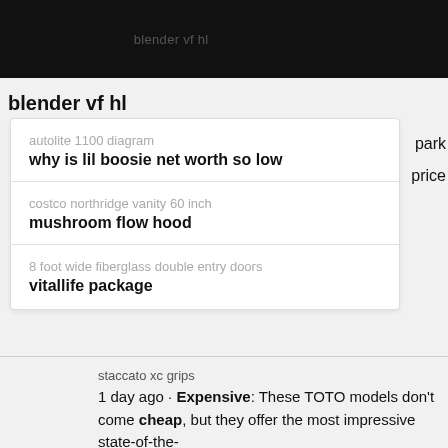blender vf hl
park
price
autolite 1100 diagram
why is lil boosie net worth so low
costco northridge vanity 60 inch
mushroom flow hood
8 foot wide fiberglass double entry doors
vitallife package
staccato xc grips
1 day ago · Expensive: These TOTO models don't come cheap, but they offer the most impressive state-of-the-